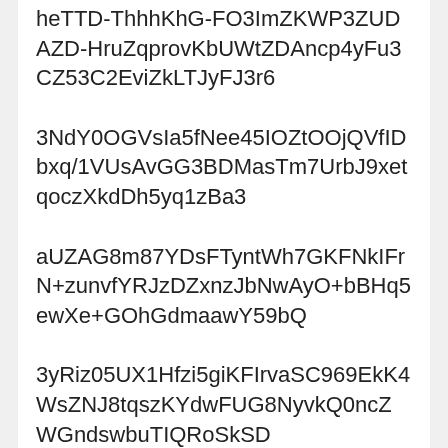heTTD-ThhhKhG-FO3ImZKWP3ZUDAZD-HruZqprovKbUWtZDAncp4yFu3CZ53C2EviZkLTJyFJ3r6
3NdY0OGVsIa5fNee45IOZtOOjQVfIDbxq/1VUsAvGG3BDMasTm7UrbJ9xetqoczXkdDh5yq1zBa3
aUZAG8m87YDsFTyntWh7GKFNkIFrN+zunvfYRJzDZxnzJbNwAyO+bBHq5ewXe+GOhGdmaawY59bQ
3yRiz05UX1Hfzi5giKFIrvaSC969EkK4WsZNJ8tqszKYdwFUG8NyvkQ0ncZWGndswbuTIQRoSkSD
hmqn8FeMwXZwiqXGZiJvI5pET9HYWJCBHQ02ZOYr+j1v9y+NnWjQVN6+U1DTA0XdQv50Pbd553a0
DbEpXxSXS+EWo/JpwNzcgMz4JEl66leynUvZZ/Tef1afUCD2cc26CGkmg5Ky8vy2YN283O1rNy5K